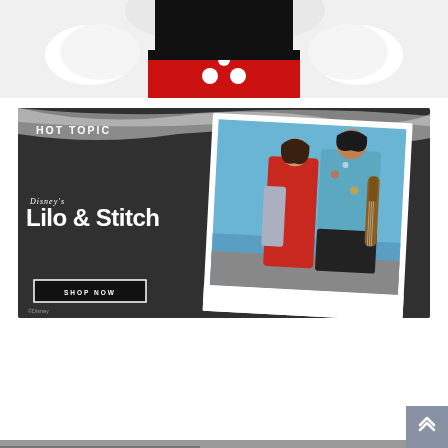[Figure (photo): Top portion of a Mickey Mouse plush toy showing red shorts with white buttons and white gloves, cropped at the top of the page]
[Figure (illustration): Hot Topic advertisement banner for Disney's Lilo & Stitch live action movie. Dark sand/beach texture background with wave at top. Features: HOT TOPIC logo in white uppercase letters, Disney's Lilo & Stitch title in stylized white font, a polaroid-style photo of two young actors (woman in red floral dress, man in blue Hawaiian shirt holding ukulele) standing on a beach, and a SHOP NOW button with white border. Copyright Disney notice at bottom left.]
[Figure (photo): Bottom partial strip of another image, barely visible at the very bottom of the page]